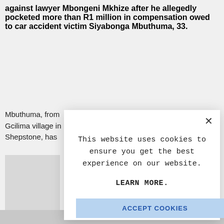against lawyer Mbongeni Mkhize after he allegedly pocketed more than R1 million in compensation owed to car accident victim Siyabonga Mbuthuma, 33.
Mbuthuma, from Gcilima village in Port Shepstone, has
[Figure (screenshot): Cookie consent modal dialog overlaying the article. Contains close button (×), message 'This website uses cookies to ensure you get the best experience on our website.', a 'LEARN MORE.' link in bold, and an 'ACCEPT COOKIES' button in light blue.]